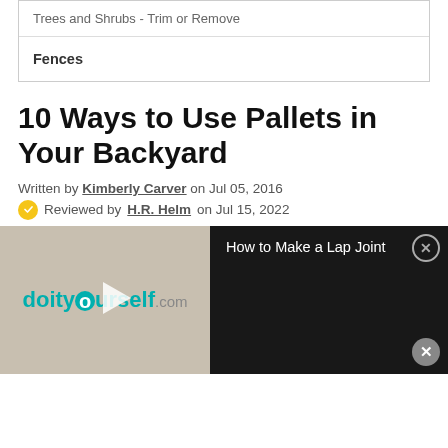| Trees and Shrubs - Trim or Remove |
| Fences |
10 Ways to Use Pallets in Your Backyard
Written by Kimberly Carver on Jul 05, 2016
Reviewed by H.R. Helm on Jul 15, 2022
[Figure (screenshot): Video player showing doityourself.com logo on left with play button, and 'How to Make a Lap Joint' title on black background on right, with close button]